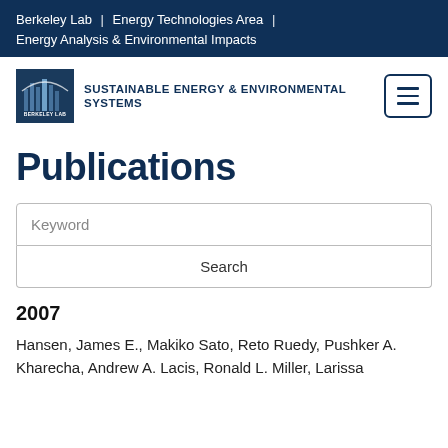Berkeley Lab | Energy Technologies Area | Energy Analysis & Environmental Impacts
[Figure (logo): Berkeley Lab Sustainable Energy & Environmental Systems logo with hamburger menu button]
Publications
2007
Hansen, James E., Makiko Sato, Reto Ruedy, Pushker A. Kharecha, Andrew A. Lacis, Ronald L. Miller, Larissa